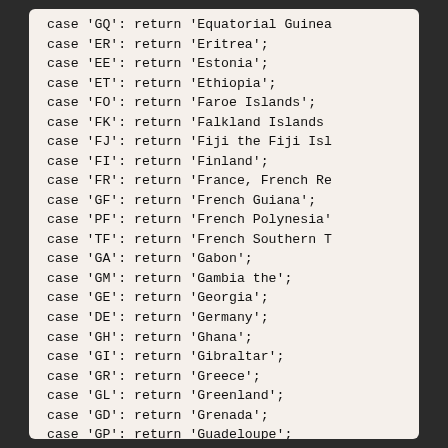case 'GQ': return 'Equatorial Guinea';
case 'ER': return 'Eritrea';
case 'EE': return 'Estonia';
case 'ET': return 'Ethiopia';
case 'FO': return 'Faroe Islands';
case 'FK': return 'Falkland Islands';
case 'FJ': return 'Fiji the Fiji Islands';
case 'FI': return 'Finland';
case 'FR': return 'France, French Republic';
case 'GF': return 'French Guiana';
case 'PF': return 'French Polynesia';
case 'TF': return 'French Southern Territories';
case 'GA': return 'Gabon';
case 'GM': return 'Gambia the';
case 'GE': return 'Georgia';
case 'DE': return 'Germany';
case 'GH': return 'Ghana';
case 'GI': return 'Gibraltar';
case 'GR': return 'Greece';
case 'GL': return 'Greenland';
case 'GD': return 'Grenada';
case 'GP': return 'Guadeloupe';
case 'GU': return 'Guam';
case 'GT': return 'Guatemala';